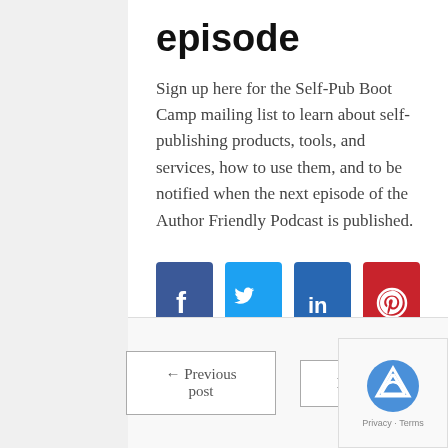episode
Sign up here for the Self-Pub Boot Camp mailing list to learn about self-publishing products, tools, and services, how to use them, and to be notified when the next episode of the Author Friendly Podcast is published.
[Figure (other): Four social media share buttons: Facebook (blue), Twitter (light blue), LinkedIn (dark blue), Pinterest (red)]
← Previous post   Next post →